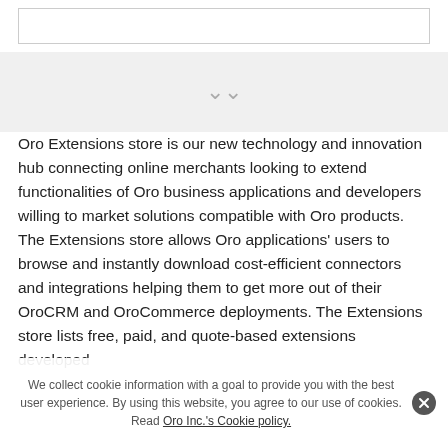[Figure (screenshot): White box / input field at top of page]
[Figure (other): Gray band with double chevron down arrow icon]
Oro Extensions store is our new technology and innovation hub connecting online merchants looking to extend functionalities of Oro business applications and developers willing to market solutions compatible with Oro products. The Extensions store allows Oro applications' users to browse and instantly download cost-efficient connectors and integrations helping them to get more out of their OroCRM and OroCommerce deployments. The Extensions store lists free, paid, and quote-based extensions developed with by the Oro team, the Oro ecosystem partners, Oro offer
We collect cookie information with a goal to provide you with the best user experience. By using this website, you agree to our use of cookies. Read Oro Inc.'s Cookie policy.